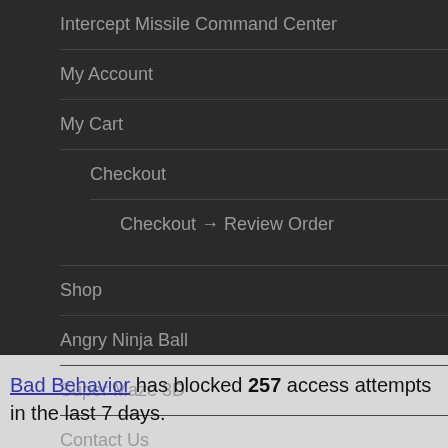Intercept Missile Command Center
My Account
My Cart
Checkout
Checkout → Review Order
Shop
Angry Ninja Ball
Super Maze 3D
Contact Us
Bad Behavior has blocked 257 access attempts in the last 7 days.